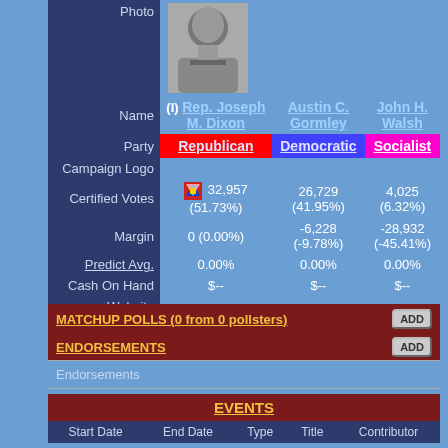| Field | Rep. Joseph M. Dixon | Austin C. Gormley | John H. Walsh |
| --- | --- | --- | --- |
| Photo | [photo] |  |  |
| Name | (I) Rep. Joseph M. Dixon | Austin C. Gormley | John H. Walsh |
| Party | Republican | Democratic | Socialist |
| Campaign Logo |  |  |  |
| Certified Votes | 32,957 (51.73%) | 26,729 (41.95%) | 4,025 (6.32%) |
| Margin | 0 (0.00%) | -6,228 (-9.78%) | -28,932 (-45.41%) |
| Predict Avg. | 0.00% | 0.00% | 0.00% |
| Cash On Hand | $-- | $-- | $-- |
| Website |  |  |  |
| Entry Date | -- | -- | -- |
| Bar | [bar] |  |  |
MATCHUP POLLS (0 from 0 pollsters)
ENDORSEMENTS
Endorsements
EVENTS
| Start Date | End Date | Type | Title | Contributor |
| --- | --- | --- | --- | --- |